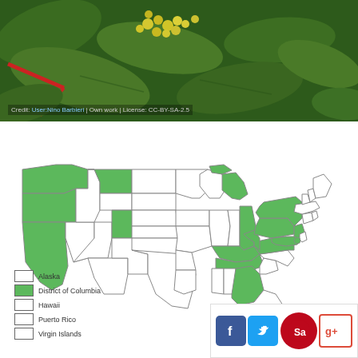[Figure (photo): Close-up photo of yellow berries/flowers with green leaves, nature plant photography]
Credit: User:Nino Barbieri | Own work | License: CC-BY-SA-2.5
[Figure (map): US map showing distribution of a plant species across states. Green states include Washington, Oregon, California, Montana, Colorado, Michigan, New York, New Jersey, Pennsylvania, Maryland, Virginia, Kentucky, Tennessee, Ohio, Georgia. Legend shows Alaska (white), District of Columbia (green), Hawaii (white), Puerto Rico (white), Virgin Islands (white).]
[Figure (infographic): Social media sharing buttons: Facebook, Twitter, Pinterest (Save), Google+]